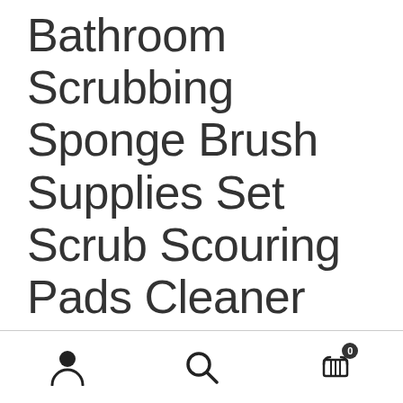Bathroom Scrubbing Sponge Brush Supplies Set Scrub Scouring Pads Cleaner Scourer Scrubber with Microfibre Household Cleaning Cloth and Home Tile Decor Stickers
[Figure (other): Bottom navigation bar with three icons: user/account icon, search icon, and shopping cart icon with badge showing 0]